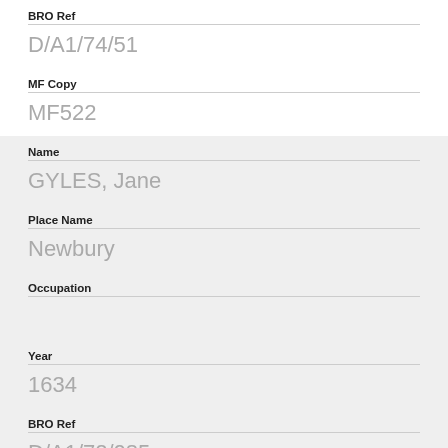BRO Ref
D/A1/74/51
MF Copy
MF522
Name
GYLES, Jane
Place Name
Newbury
Occupation
Year
1634
BRO Ref
D/A1/72/085